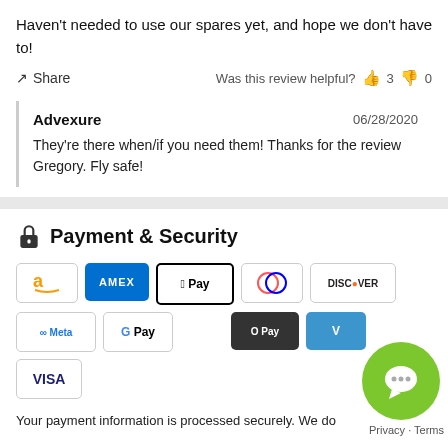Haven't needed to use our spares yet, and hope we don't have to!
Share   Was this review helpful?  👍 3  👎 0
Advexure  06/28/2020
They're there when/if you need them! Thanks for the review Gregory. Fly safe!
Payment & Security
[Figure (infographic): Payment method logos: Amazon, Amex, Apple Pay, Diners Club, Discover, Meta Pay, Google Pay, O Pay, Venmo, Visa]
Your payment information is processed securely. We do